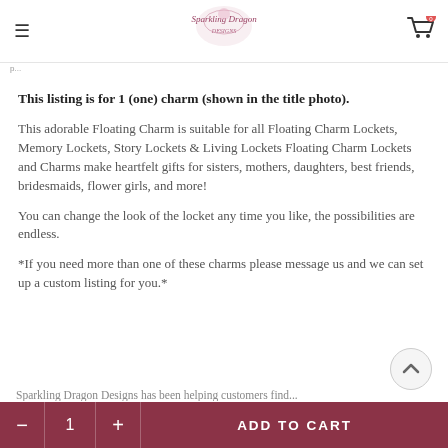Sparkling Dragon Designs — navigation header with logo and cart
This listing is for 1 (one) charm (shown in the title photo).
This adorable Floating Charm is suitable for all Floating Charm Lockets, Memory Lockets, Story Lockets & Living Lockets Floating Charm Lockets and Charms make heartfelt gifts for sisters, mothers, daughters, best friends, bridesmaids, flower girls, and more!
You can change the look of the locket any time you like, the possibilities are endless.
*If you need more than one of these charms please message us and we can set up a custom listing for you.*
- 1 + ADD TO CART